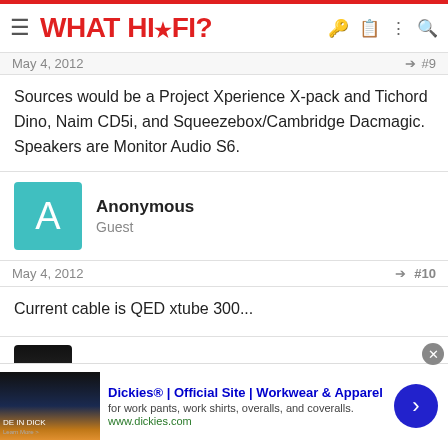WHAT HI·FI?
Sources would be a Project Xperience X-pack and Tichord Dino, Naim CD5i, and Squeezebox/Cambridge Dacmagic. Speakers are Monitor Audio S6.
Anonymous
Guest
May 4, 2012  #10
Current cable is QED xtube 300...
chebby
Dickies® | Official Site | Workwear & Apparel
for work pants, work shirts, overalls, and coveralls.
www.dickies.com